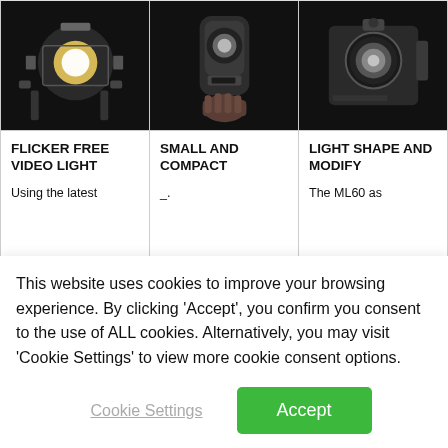[Figure (photo): Three product photos of Godox lighting equipment on black backgrounds in a 3-column grid]
| FLICKER FREE VIDEO LIGHT | SMALL AND COMPACT | LIGHT SHAPE AND MODIFY |
| Using the latest | _. | The ML60 as |
This website uses cookies to improve your browsing experience. By clicking 'Accept', you confirm you consent to the use of ALL cookies. Alternatively, you may visit 'Cookie Settings' to view more cookie consent options.
Cookie Settings
Accept